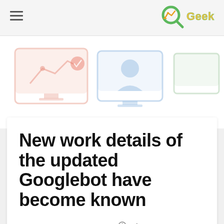GeekBlog
[Figure (illustration): Banner with three faded monitor/screen icons in salmon, blue, and green colors suggesting website or analytics themes]
New work details of the updated Googlebot have become known
February 13, 2021 6:05 AM
2 minutes read